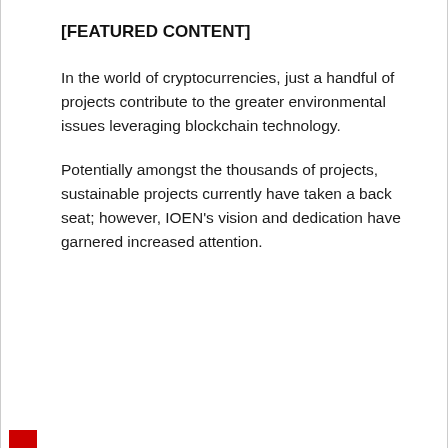[FEATURED CONTENT]
In the world of cryptocurrencies, just a handful of projects contribute to the greater environmental issues leveraging blockchain technology.
Potentially amongst the thousands of projects, sustainable projects currently have taken a back seat; however, IOEN's vision and dedication have garnered increased attention.